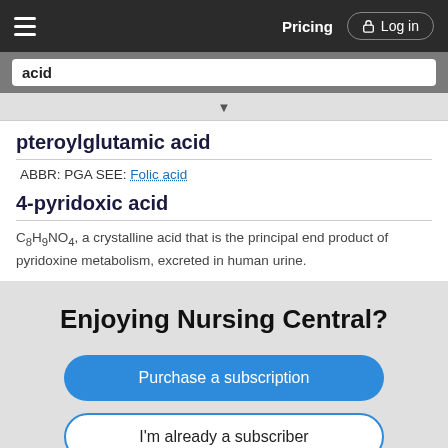acid
pteroylglutamic acid
ABBR: PGA SEE: Folic acid
4-pyridoxic acid
C8H9NO4, a crystalline acid that is the principal end product of pyridoxine metabolism, excreted in human urine.
Enjoying Nursing Central?
Purchase a subscription
I'm already a subscriber